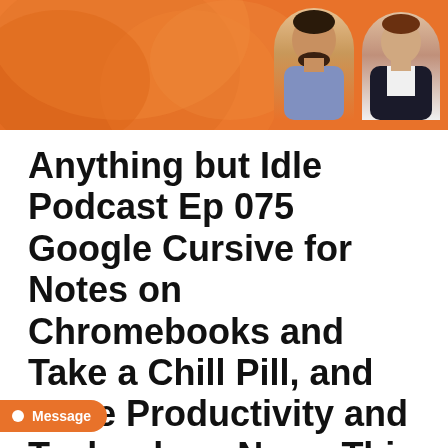[Figure (photo): Orange banner header with decorative circular shapes and two host headshot photos on the right side]
Anything but Idle Podcast Ep 075 Google Cursive for Notes on Chromebooks and Take a Chill Pill, and more Productivity and Technology News This Week
[Figure (screenshot): YouTube video thumbnail for 'Google Cursive for Notes on C...' by But Idle, showing podcast logo with gears, video title bar, red YouTube play button, and bottom overlay text reading 'the Top Productivity and Technology News This Week']
Message